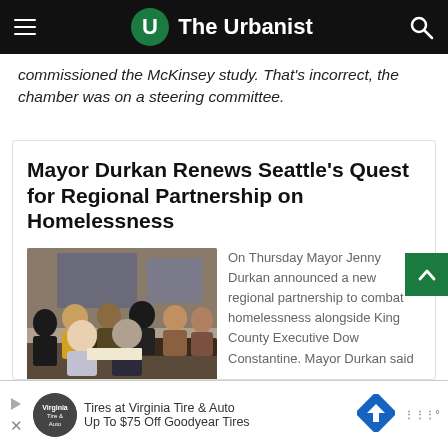The Urbanist
commissioned the McKinsey study. That's incorrect, the chamber was on a steering committee.
Mayor Durkan Renews Seattle’s Quest for Regional Partnership on Homelessness
[Figure (photo): Group photo of people including Mayor Jenny Durkan seated at a table signing a document]
On Thursday Mayor Jenny Durkan announced a new regional partnership to combat homelessness alongside King County Executive Dow Constantine. Mayor Durkan said
[Figure (infographic): Advertisement banner: Virginia Tire & Auto - Tires at Virginia Tire & Auto. Up To $75 Off Goodyear Tires]